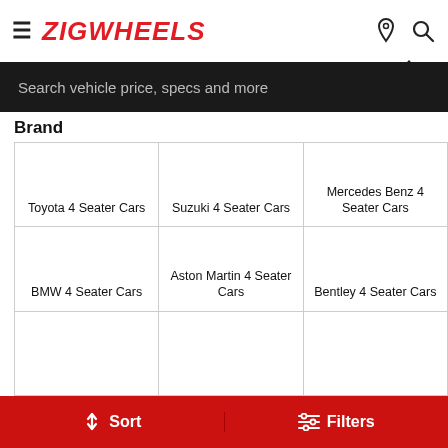ZIGWHEELS
Search vehicle price, specs and more
Brand
| Toyota 4 Seater Cars | Suzuki 4 Seater Cars | Mercedes Benz 4 Seater Cars |
| BMW 4 Seater Cars | Aston Martin 4 Seater Cars | Bentley 4 Seater Cars |
|  |  |  |
Sort   Filters